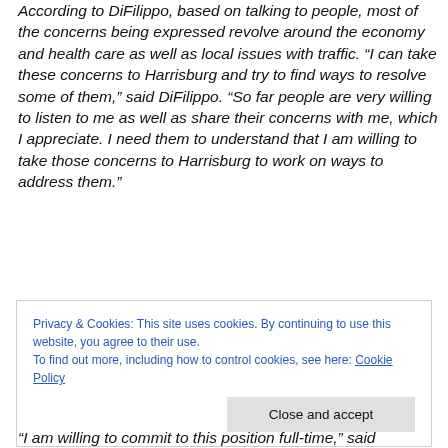According to DiFilippo, based on talking to people, most of the concerns being expressed revolve around the economy and health care as well as local issues with traffic. “I can take these concerns to Harrisburg and try to find ways to resolve some of them,” said DiFilippo. “So far people are very willing to listen to me as well as share their concerns with me, which I appreciate. I need them to understand that I am willing to take those concerns to Harrisburg to work on ways to address them.”
Privacy & Cookies: This site uses cookies. By continuing to use this website, you agree to their use.
To find out more, including how to control cookies, see here: Cookie Policy
“I am willing to commit to this position full-time,” said